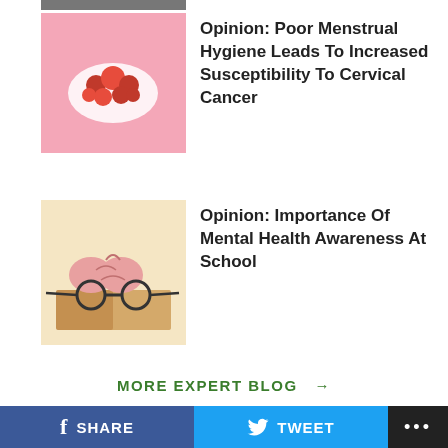[Figure (photo): Partial thumbnail of previous article at very top]
[Figure (photo): Pink background with raspberries/berries on white cloth - menstrual hygiene article thumbnail]
Opinion: Poor Menstrual Hygiene Leads To Increased Susceptibility To Cervical Cancer
[Figure (photo): Brain with glasses sitting on open book - mental health at school article thumbnail]
Opinion: Importance Of Mental Health Awareness At School
MORE EXPERT BLOG →
ताजा स्वास्थ्य खबरे
[Figure (photo): Woman in sari with child - Hindi article thumbnail 1]
क्या आप जानती हैं मासिकधर्म स्वच्छता ठीक से न रखने से बढ़ जाता है सर्वाइकल कैंसर का खतरा? जानें कारण
[Figure (photo): Smiling woman portrait - Hindi article thumbnail 2]
स्कूल जाने वाले हर बच्चे के लिए जरूरी है यह, पर भारत में मानसिक स्वास्थ्य जागरूकता को लेकर अभी भी बहुत कुछ करना बाकी है
f SHARE   TWEET   ...